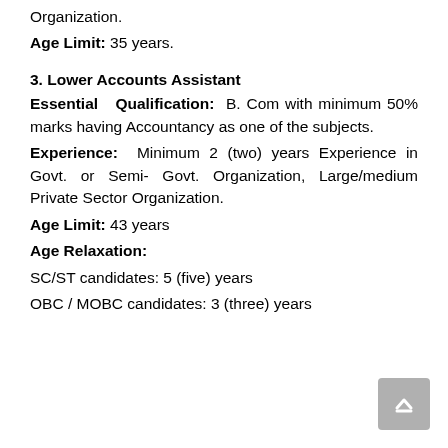Organization.
Age Limit: 35 years.
3. Lower Accounts Assistant
Essential Qualification: B. Com with minimum 50% marks having Accountancy as one of the subjects.
Experience: Minimum 2 (two) years Experience in Govt. or Semi- Govt. Organization, Large/medium Private Sector Organization.
Age Limit: 43 years
Age Relaxation:
SC/ST candidates: 5 (five) years
OBC / MOBC candidates: 3 (three) years